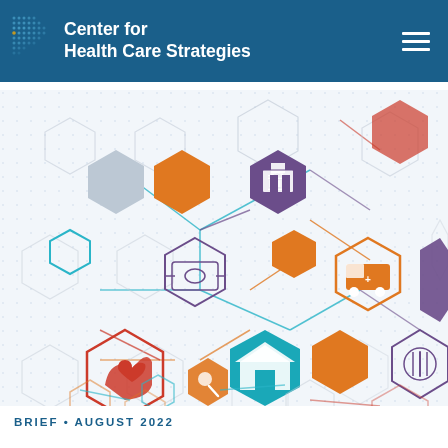Center for Health Care Strategies
[Figure (illustration): Interconnected hexagonal network infographic showing various healthcare-related icons including a hospital/school building, ambulance, heart in hand, house, money/cash, food/plate, and a medicine/pill icon. The hexagons are colored in orange, teal, purple, red, and gray, connected by thin colored lines on a light dotted background.]
BRIEF • AUGUST 2022